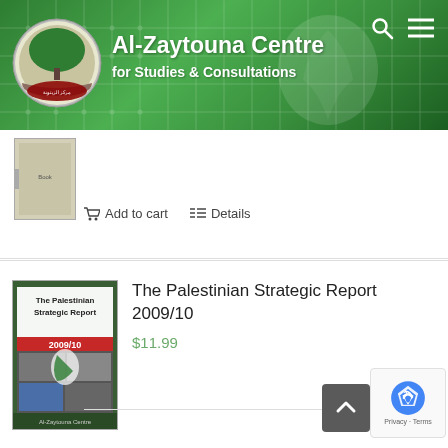Al-Zaytouna Centre for Studies & Consultations
[Figure (screenshot): Website screenshot of Al-Zaytouna Centre for Studies & Consultations showing products including The Palestinian Strategic Report 2009/10]
Add to cart   Details
[Figure (photo): Book cover: The Palestinian Strategic Report 2009/10]
The Palestinian Strategic Report 2009/10
$11.99